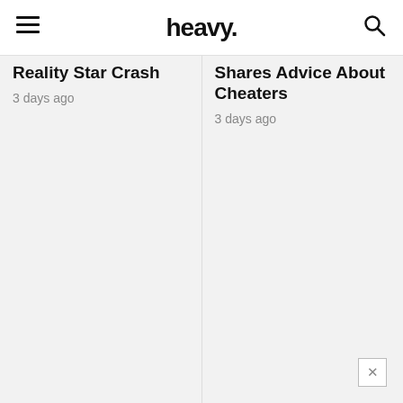heavy.
Reality Star Crash
3 days ago
Shares Advice About Cheaters
3 days ago